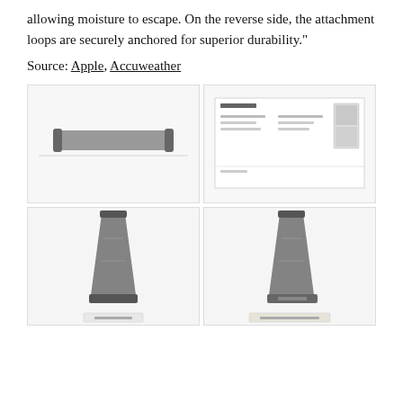allowing moisture to escape. On the reverse side, the attachment loops are securely anchored for superior durability."
Source: Apple, Accuweather
[Figure (photo): Four product photos of an Apple Watch band: top-left shows the band laid flat horizontally, top-right shows a spec/label sheet, bottom-left shows the band stood vertically viewed from front, bottom-right shows the band stood vertically viewed from a slightly different angle with a label at the bottom.]